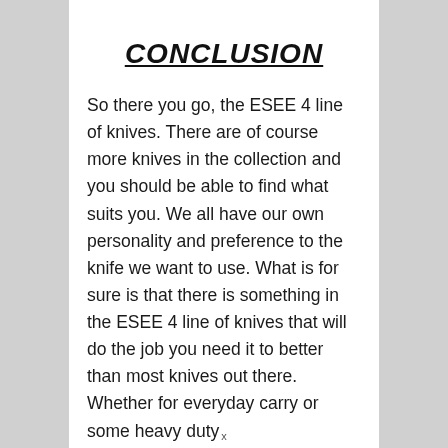CONCLUSION
So there you go, the ESEE 4 line of knives. There are of course more knives in the collection and you should be able to find what suits you. We all have our own personality and preference to the knife we want to use. What is for sure is that there is something in the ESEE 4 line of knives that will do the job you need it to better than most knives out there. Whether for everyday carry or some heavy duty
x